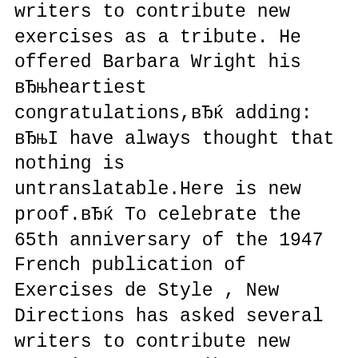writers to contribute new exercises as a tribute. He offered Barbara Wright his вЂњheartiest congratulations,вЂќ adding: вЂњI have always thought that nothing is untranslatable.Here is new proof.вЂќ To celebrate the 65th anniversary of the 1947 French publication of Exercises de Style , New Directions has asked several writers to contribute new exercises as a tribute.
The Artist on her Trapeze Barbara Wright's 99 Variations on a theme by Raymond Queneau David Bellos Princeton University Some time in 1957, Barbara Wright took a school exercise book in which she had been writing out some personal thoughts in Italian, вЂ¦